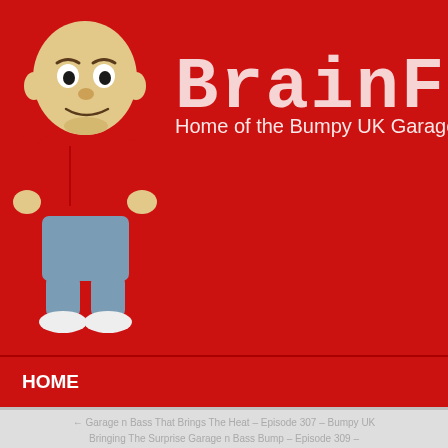[Figure (illustration): BrainF website header with red background, cartoon mascot (small bald character in red shirt and grey pants), large dotted pixel-style brand name 'BrainF' and subtitle 'Home of the Bumpy UK Garage Po']
HOME
← Garage n Bass That Brings The Heat – Episode 307 – Bumpy UK
Bringing The Surprise Garage n Bass Bump – Episode 309 –
You Should Just Come Over F Garage n Bass – Episode 308 Garage with DJ BrainZ
Posted by Mr Brainz in Bumpy UK Garage Podcast, Music Feed
Podcast: Download HD 320KB MP3